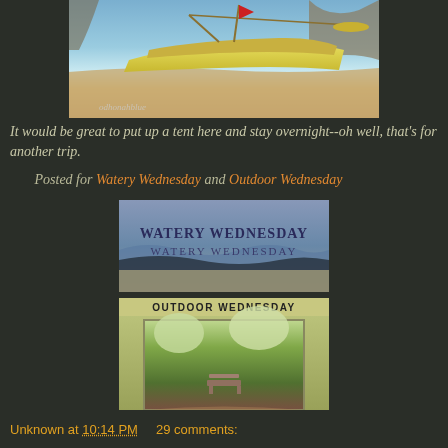[Figure (photo): A yellow outrigger boat on a beach with blue-green water in the background]
It would be great to put up a tent here and stay overnight--oh well, that's for another trip.
Posted for Watery Wednesday and Outdoor Wednesday
[Figure (photo): Watery Wednesday banner image showing beach waves with text WATERY WEDNESDAY]
[Figure (photo): Outdoor Wednesday banner showing a garden with bench and flowering trees, with URL http://asoutherndaydreamer.blogspot.com]
Unknown at 10:14 PM    29 comments: